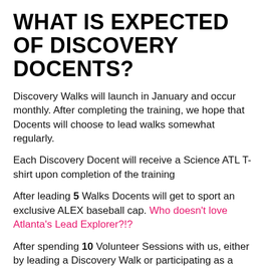WHAT IS EXPECTED OF DISCOVERY DOCENTS?
Discovery Walks will launch in January and occur monthly. After completing the training, we hope that Docents will choose to lead walks somewhat regularly.
Each Discovery Docent will receive a Science ATL T-shirt upon completion of the training
After leading 5 Walks Docents will get to sport an exclusive ALEX baseball cap. Who doesn't love Atlanta's Lead Explorer?!?
After spending 10 Volunteer Sessions with us, either by leading a Discovery Walk or participating as a Science ATL Event or CSO Program volunteer, Super Volunteers will be invited to a Special Science